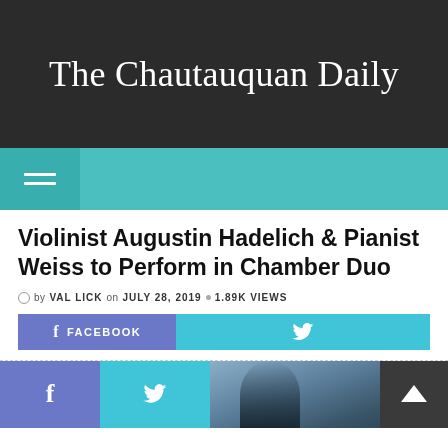The Chautauquan Daily
[Figure (screenshot): Teal navigation bar with hamburger menu icon on left]
Violinist Augustin Hadelich & Pianist Weiss to Perform in Chamber Duo
by VAL LICK on JULY 28, 2019 · 1.89K VIEWS
FACEBOOK (share button) and Twitter (share button)
[Figure (photo): Partial photo of a person outdoors, with social share buttons on left and a dark back-to-top arrow button on right]